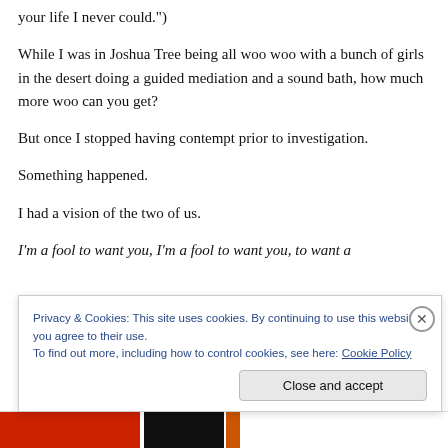your life I never could.")
While I was in Joshua Tree being all woo woo with a bunch of girls in the desert doing a guided mediation and a sound bath, how much more woo can you get?
But once I stopped having contempt prior to investigation.
Something happened.
I had a vision of the two of us.
I'm a fool to want you, I'm a fool to want you, to want a
Privacy & Cookies: This site uses cookies. By continuing to use this website, you agree to their use.
To find out more, including how to control cookies, see here: Cookie Policy
Close and accept